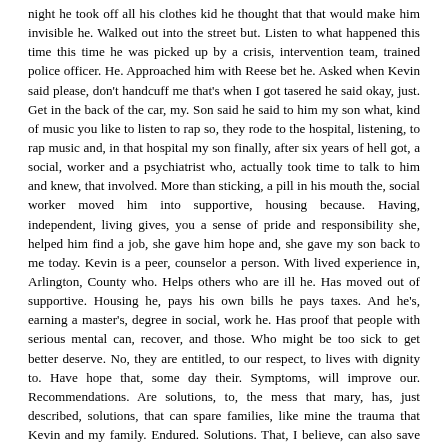night he took off all his clothes kid he thought that that would make him invisible he. Walked out into the street but. Listen to what happened this time this time he was picked up by a crisis, intervention team, trained police officer. He. Approached him with Reese bet he. Asked when Kevin said please, don't handcuff me that's when I got tasered he said okay, just. Get in the back of the car, my. Son said he said to him my son what, kind of music you like to listen to rap so, they rode to the hospital, listening, to rap music and, in that hospital my son finally, after six years of hell got, a social, worker and a psychiatrist who, actually took time to talk to him and knew, that involved. More than sticking, a pill in his mouth the, social worker moved him into supportive, housing because. Having, independent, living gives, you a sense of pride and responsibility she, helped him find a job, she gave him hope and, she gave my son back to me today. Kevin is a peer, counselor a person. With lived experience in, Arlington, County who. Helps others who are ill he. Has moved out of supportive. Housing he, pays his own bills he pays taxes. And he's, earning a master's, degree in social, work he. Has proof that people with serious mental can, recover, and those. Who might be too sick to get better deserve. No, they are entitled, to our respect, to lives with dignity to. Have hope that, some day their. Symptoms, will improve our. Recommendations. Are solutions, to, the mess that mary, has, just described, solutions, that can spare families, like mine the trauma that Kevin and my family. Endured. Solutions. That, I believe, can also save talks tax, dollars, as this, report explains. Because, of time restraints. All of its recommendations. Were, written by non-federal. Members I am, proud that, these, recommendations, are. From advocates, who, have worked tirelessly in. The trenches, and encountered, the problems I faced I am, now eager, to, collaborate, with our federal, members, the Federal Bureau of Prisons houses. 24,000. Prisoners with serious, mental illness some, of whom are being released directly, from, isolation, cells into, the streets, what, innovative, steps, to. Protecting, the public, but humanely, dealing, with